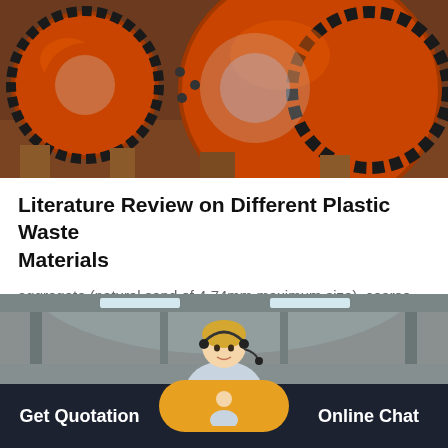[Figure (photo): Large orange industrial ball mill machinery in a warehouse/factory setting]
Literature Review on Different Plastic Waste Materials
aggregate (natural sand of 4.74mm maximum size), coarse aggregate (max size below 20mm) and addition of 10%, 15% and 20% of plastic waste as sand replacement. Their test...
[Figure (photo): Industrial hall interior with a female customer service representative with headset overlaid, shown as a chat widget. Bottom navigation bar with Get Quotation and Online Chat buttons.]